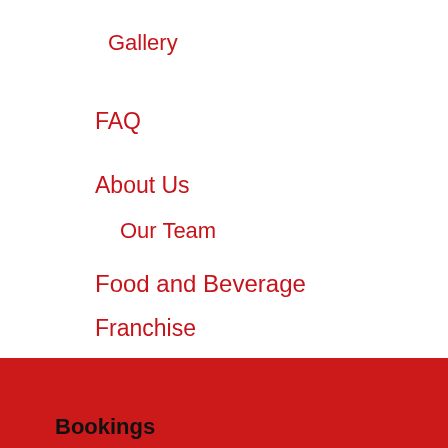Gallery
FAQ
About Us
Our Team
Food and Beverage
Franchise
Blog
Contact Us
Bookings